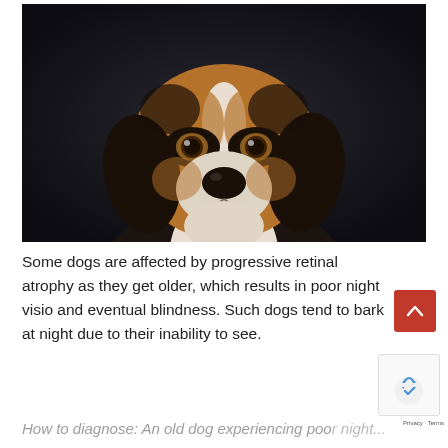[Figure (photo): Close-up portrait of a beagle dog looking upward against a dark background. The dog has brown, black and white coloring with expressive brown eyes and long floppy ears.]
Some dogs are affected by progressive retinal atrophy as they get older, which results in poor night vision and eventual blindness. Such dogs tend to bark at night due to their inability to see.
How to diagnose: An old dog experiencing poor night...